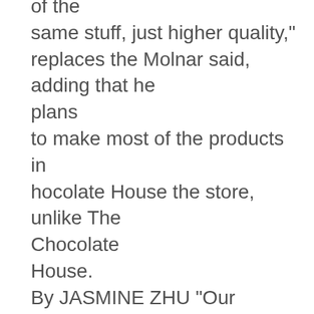of the same stuff, just higher quality," replaces the Molnar said, adding that he plans to make most of the products in hocolate House the store, unlike The Chocolate House. By JASMINE ZHU "Our equipment here is limited Daily News Editor to how much we can make here, but our goal is to make 90 percent e much-beloved Chocolate of what we sell here and counting.